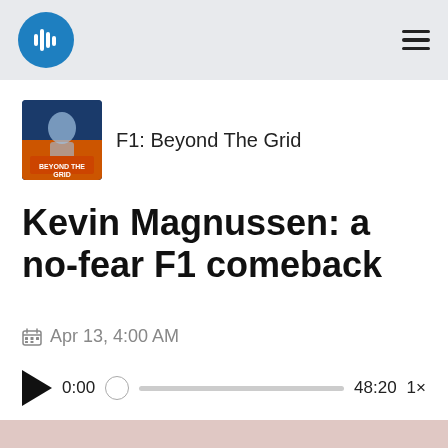F1: Beyond The Grid podcast app header
[Figure (logo): Podcast app logo - blue circle with white audio waveform bars icon]
F1: Beyond The Grid
Kevin Magnussen: a no-fear F1 comeback
Apr 13, 4:00 AM
[Figure (other): Audio player controls: play button, time 0:00, progress bar with knob, end time 48:20, speed 1x]